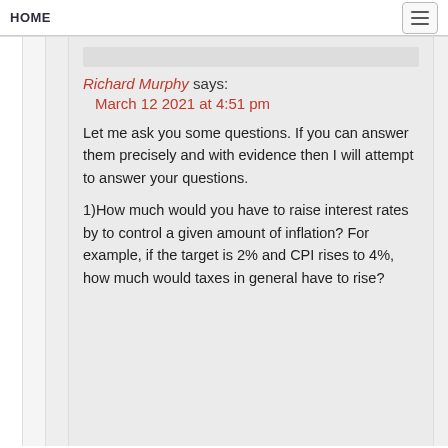HOME
Richard Murphy says:
March 12 2021 at 4:51 pm

Let me ask you some questions. If you can answer them precisely and with evidence then I will attempt to answer your questions.

1)How much would you have to raise interest rates by to control a given amount of inflation? For example, if the target is 2% and CPI rises to 4%, how much would taxes in general have to rise?